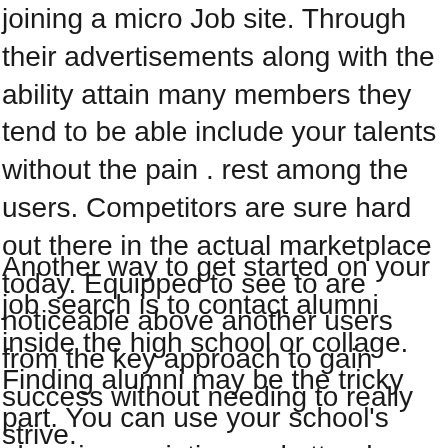joining a micro Job site. Through their advertisements along with the ability attain many members they tend to be able include your talents without the pain . rest among the users. Competitors are sure hard out there in the actual marketplace today. Equipped to see to are noticeable above another users from the key approach to gain success without needing to really strive.
Another way to get started on your job search is to contact alumni inside the high school or collage. Finding alumni may be the tricky part. You can use your school's alumni association and attend regular meetings or look for fellow former graduates online on places like LinkedIn. You can ask the alumni that they got their job and when they a few advice that. Even better, maybe they can open some doors for